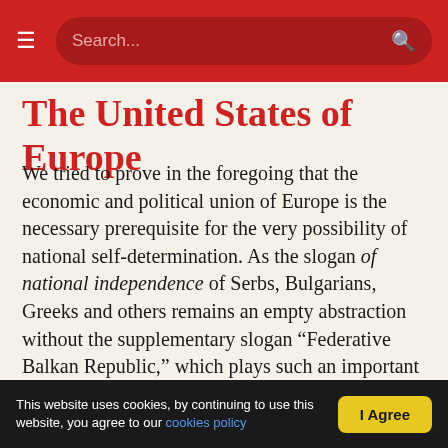Search...
The United States of Europe
We tried to prove in the foregoing that the economic and political union of Europe is the necessary prerequisite for the very possibility of national self-determination. As the slogan of national independence of Serbs, Bulgarians, Greeks and others remains an empty abstraction without the supplementary slogan “Federative Balkan Republic,” which plays such an important role in the whole policy of the Balkan Social Democracy; so on the grand European scale the principle of the “right” to self-determination can be effectively
This website uses cookies, by continuing to use this website, you agree to our cookies policy